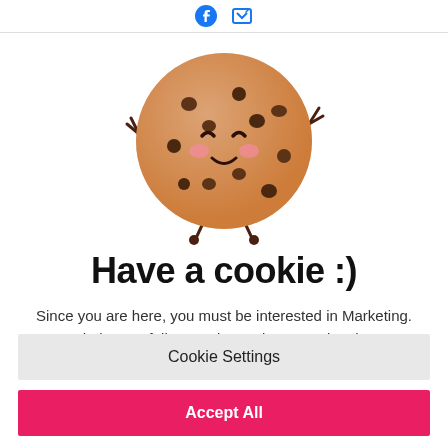[Figure (illustration): Cute cartoon cookie character with a smiley face, pink cheeks, and arms raised in a peace sign gesture. The cookie is round, brown with chocolate chips.]
Have a cookie :)
Since you are here, you must be interested in Marketing. So help your fellow marketers by Accepting these cookies.
Cookie Settings
Accept All